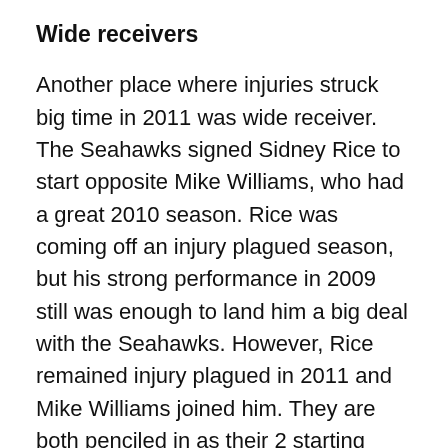Wide receivers
Another place where injuries struck big time in 2011 was wide receiver. The Seahawks signed Sidney Rice to start opposite Mike Williams, who had a great 2010 season. Rice was coming off an injury plagued season, but his strong performance in 2009 still was enough to land him a big deal with the Seahawks. However, Rice remained injury plagued in 2011 and Mike Williams joined him. They are both penciled in as their 2 starting receivers right now, but neither are sure things to be out there week 1 and it would be pretty shocking if both made it through a 16 game slate.
If they get hurt, they'll need two young receivers, Golden Tate, 2010 2nd round pick, and Ricardo Lockette, a 2011